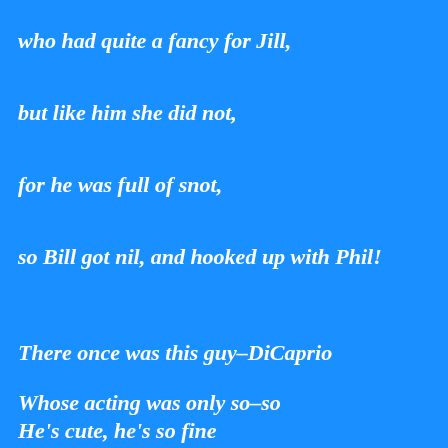who had quite a fancy for Jill,
but like him she did not,
for he was full of snot,
so Bill got nil, and hooked up with Phil!
There once was this guy–DiCaprio
Whose acting was only so–so
He's cute, he's so fine